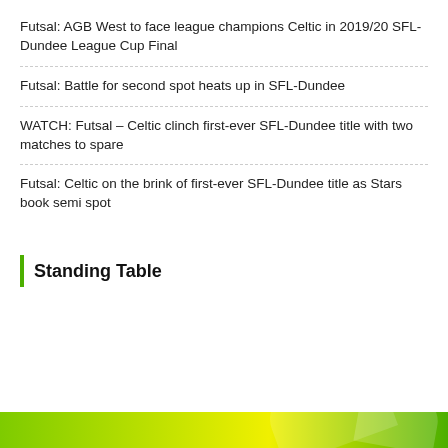Futsal: AGB West to face league champions Celtic in 2019/20 SFL-Dundee League Cup Final
Futsal: Battle for second spot heats up in SFL-Dundee
WATCH: Futsal – Celtic clinch first-ever SFL-Dundee title with two matches to spare
Futsal: Celtic on the brink of first-ever SFL-Dundee title as Stars book semi spot
Standing Table